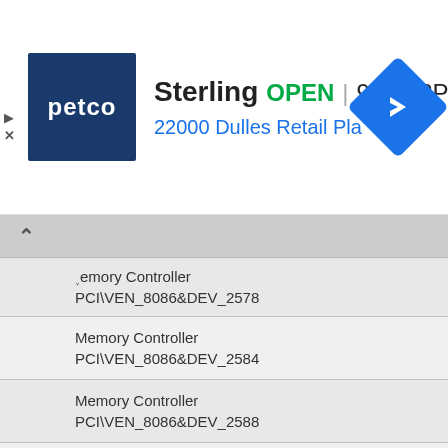[Figure (screenshot): Petco advertisement banner showing store location in Sterling, open 9AM-8PM, address 22000 Dulles Retail Plaza #110, Sterlin, with navigation arrow icon]
Memory Controller
PCI\VEN_8086&DEV_2578
Memory Controller
PCI\VEN_8086&DEV_2584
Memory Controller
PCI\VEN_8086&DEV_2588
Memory Controller
PCI\VEN_8086&DEV_25AC
Memory Controller
PCI\VEN_8086&DEV_25C0
Memory Controller
PCI\VEN_8086&DEV_25D0
Memory Controller